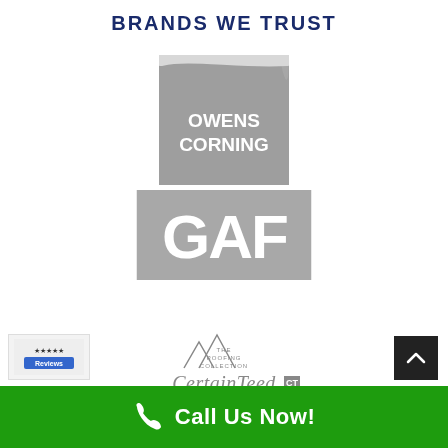BRANDS WE TRUST
[Figure (logo): Owens Corning logo — grey square with curved swoosh and white text 'Owens Corning']
[Figure (logo): GAF logo — grey rectangle with large white bold text 'GAF']
[Figure (logo): CertainTeed logo — grey triangular mountain graphic above text 'The Roofing Collection' and 'CertainTeed' with CT mark]
Call Us Now!